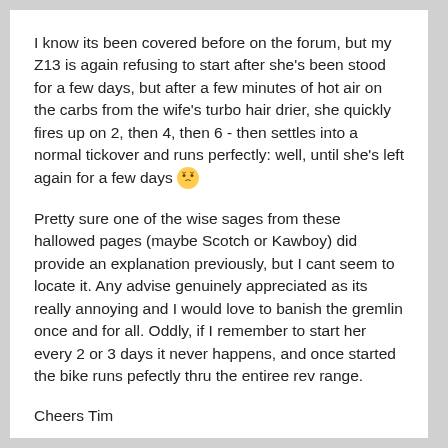I know its been covered before on the forum, but my Z13 is again refusing to start after she's been stood for a few days, but after a few minutes of hot air on the carbs from the wife's turbo hair drier, she quickly fires up on 2, then 4, then 6 - then settles into a normal tickover and runs perfectly: well, until she's left again for a few days 😤
Pretty sure one of the wise sages from these hallowed pages (maybe Scotch or Kawboy) did provide an explanation previously, but I cant seem to locate it. Any advise genuinely appreciated as its really annoying and I would love to banish the gremlin once and for all. Oddly, if I remember to start her every 2 or 3 days it never happens, and once started the bike runs pefectly thru the entiree rev range.
Cheers Tim